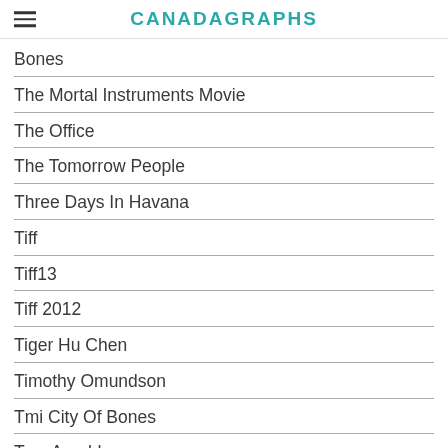CANADAGRAPHS
Bones
The Mortal Instruments Movie
The Office
The Tomorrow People
Three Days In Havana
Tiff
Tiff13
Tiff 2012
Tiger Hu Chen
Timothy Omundson
Tmi City Of Bones
Tom Arnold
Tom Felton
Tom Hanks
Tom Hiddleston